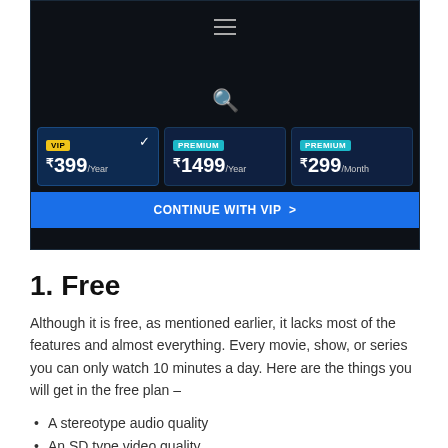[Figure (screenshot): A streaming service subscription plans screen showing VIP (₹399/Year, selected), Premium (₹1499/Year), and Premium (₹299/Month) options with a 'CONTINUE WITH VIP' button on a dark background.]
1. Free
Although it is free, as mentioned earlier, it lacks most of the features and almost everything. Every movie, show, or series you can only watch 10 minutes a day. Here are the things you will get in the free plan –
A stereotype audio quality
An SD type video quality